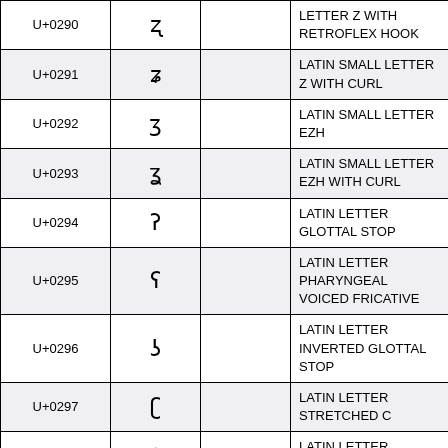| Code | Glyph |  | Name |
| --- | --- | --- | --- |
| U+0290 | ʐ |  | LATIN SMALL LETTER Z WITH RETROFLEX HOOK |
| U+0291 | ʑ |  | LATIN SMALL LETTER Z WITH CURL |
| U+0292 | ʒ |  | LATIN SMALL LETTER EZH |
| U+0293 | ʓ |  | LATIN SMALL LETTER EZH WITH CURL |
| U+0294 | ʔ |  | LATIN LETTER GLOTTAL STOP |
| U+0295 | ʕ |  | LATIN LETTER PHARYNGEAL VOICED FRICATIVE |
| U+0296 | ʖ |  | LATIN LETTER INVERTED GLOTTAL STOP |
| U+0297 | ʗ |  | LATIN LETTER STRETCHED C |
| U+0298 | ʘ |  | LATIN LETTER BILABIAL CLICK |